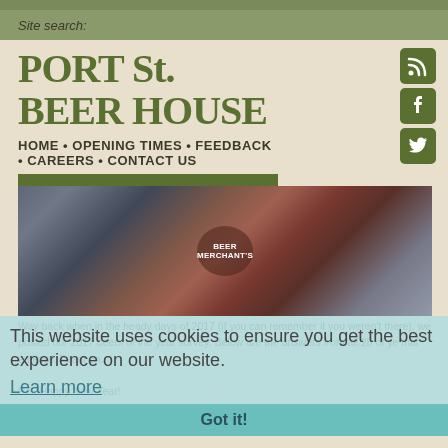Site search:
PORT St. BEER HOUSE
HOME • OPENING TIMES • FEEDBACK • CAREERS • CONTACT US
[Figure (photo): Photo of a person holding a dark beer glass with 'Beer Merchant's' logo at an event, crowd visible in background]
This website uses cookies to ensure you get the best experience on our website.
Learn more
Way back when in the heady days of 2017 (if you can remember it you weren't there), we posted our 2017 beers of the year survey. Below are the answers from all 28 of ye that entered. Feast on…

P.S. Happy New Year!
Got it!